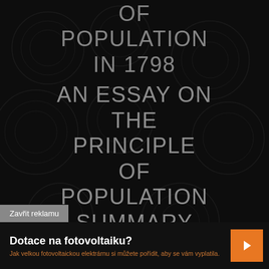OF POPULATION IN 1798 AN ESSAY ON THE PRINCIPLE OF POPULATION SUMMARY AN ESSAY ON THE
Zavřit reklamu
Dotace na fotovoltaiku?
Jak velkou fotovoltaickou elektrárnu si můžete pořídit, aby se vám vyplatila.